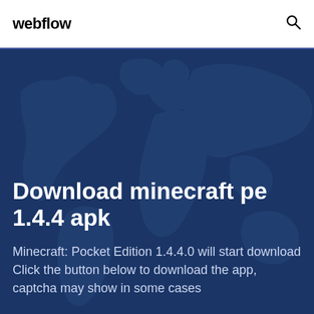webflow
Download minecraft pe 1.4.4 apk
Minecraft: Pocket Edition 1.4.4.0 will start download Click the button below to download the app, captcha may show in some cases